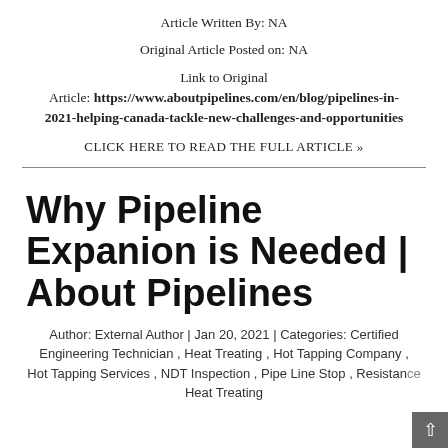Article Written By: NA
Original Article Posted on: NA
Link to Original Article: https://www.aboutpipelines.com/en/blog/pipelines-in-2021-helping-canada-tackle-new-challenges-and-opportunities
CLICK HERE TO READ THE FULL ARTICLE »
Why Pipeline Expanion is Needed | About Pipelines
Author: External Author | Jan 20, 2021 | Categories: Certified Engineering Technician , Heat Treating , Hot Tapping Company , Hot Tapping Services , NDT Inspection , Pipe Line Stop , Resistance Heat Treating